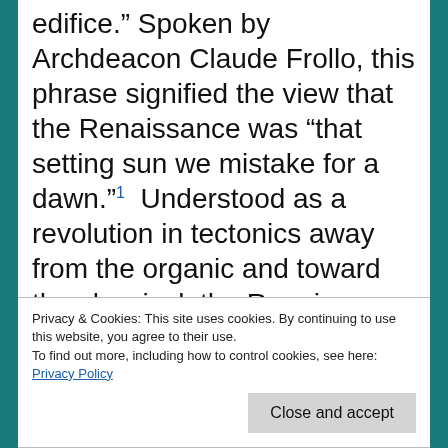edifice.” Spoken by Archdeacon Claude Frollo, this phrase signified the view that the Renaissance was “that setting sun we mistake for a dawn.”¹ Understood as a revolution in tectonics away from the organic and toward the classical, the Renaissance had separated sculpture, painting, and architecture—carved and parceled them out from what was formerly a single edifice of Gothic construction. The mechanism? Printing
Privacy & Cookies: This site uses cookies. By continuing to use this website, you agree to their use.
To find out more, including how to control cookies, see here: Privacy Policy
contained in books.